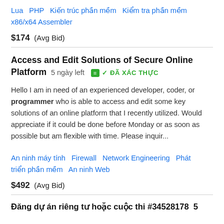Lua   PHP   Kiến trúc phần mềm   Kiểm tra phần mềm   x86/x64 Assembler
$174  (Avg Bid)
Access and Edit Solutions of Secure Online Platform  5 ngày left  ĐÃ XÁC THỰC
Hello I am in need of an experienced developer, coder, or programmer who is able to access and edit some key solutions of an online platform that I recently utilized. Would appreciate if it could be done before Monday or as soon as possible but am flexible with time. Please inquir...
An ninh máy tính   Firewall   Network Engineering   Phát triển phần mềm   An ninh Web
$492  (Avg Bid)
Đăng dự án riêng tư hoặc cuộc thi #34528178  5